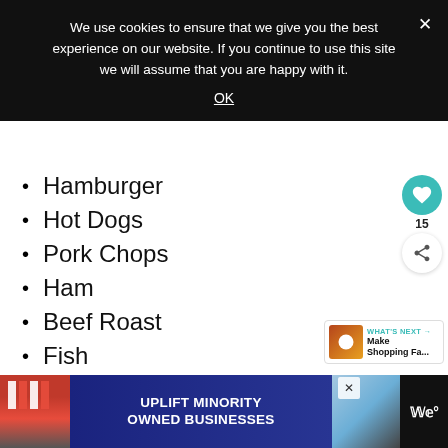We use cookies to ensure that we give you the best experience on our website. If you continue to use this site we will assume that you are happy with it.
OK
Hamburger
Hot Dogs
Pork Chops
Ham
Beef Roast
Fish
Pork Roast
[Figure (screenshot): WHAT'S NEXT arrow: Make Shopping Fa... thumbnail widget]
[Figure (screenshot): Bottom advertisement banner: UPLIFT MINORITY OWNED BUSINESSES]